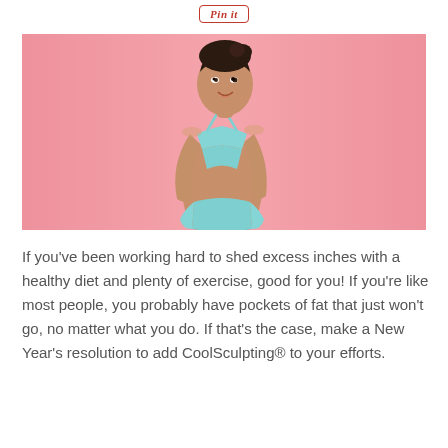[Figure (photo): Woman in mint/teal bikini posing against a pink background, smiling, with her hair up]
If you've been working hard to shed excess inches with a healthy diet and plenty of exercise, good for you! If you're like most people, you probably have pockets of fat that just won't go, no matter what you do. If that's the case, make a New Year's resolution to add CoolSculpting® to your efforts.